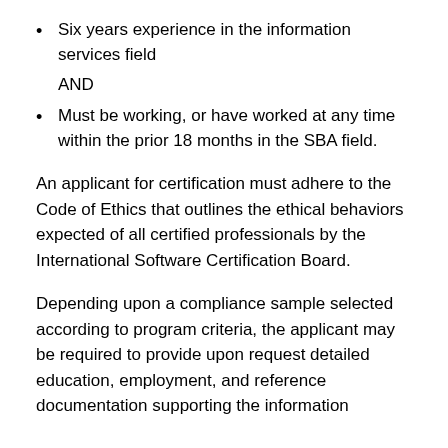Six years experience in the information services field
AND
Must be working, or have worked at any time within the prior 18 months in the SBA field.
An applicant for certification must adhere to the Code of Ethics that outlines the ethical behaviors expected of all certified professionals by the International Software Certification Board.
Depending upon a compliance sample selected according to program criteria, the applicant may be required to provide upon request detailed education, employment, and reference documentation supporting the information